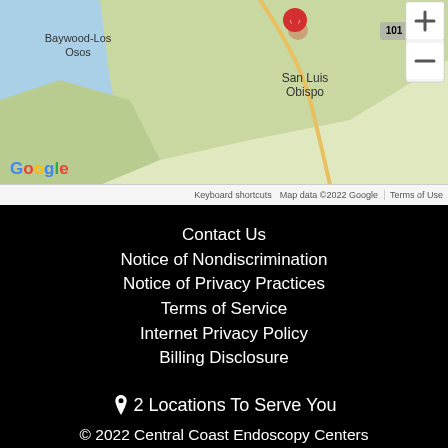[Figure (map): Google Maps showing San Luis Obispo area with a red location pin, nearby label Baywood-Los Osos, highway 101, zoom controls (+/-), Google logo, and attribution bar reading 'Keyboard shortcuts | Map data ©2022 Google | Terms of Use']
Contact Us
Notice of Nondiscrimination
Notice of Privacy Practices
Terms of Service
Internet Privacy Policy
Billing Disclosure
📍 2 Locations To Serve You
© 2022 Central Coast Endoscopy Centers